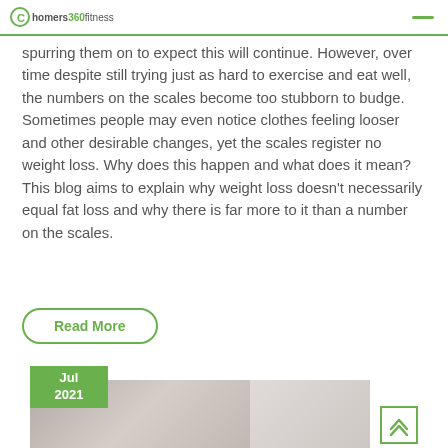homers360fitness
spurring them on to expect this will continue. However, over time despite still trying just as hard to exercise and eat well, the numbers on the scales become too stubborn to budge. Sometimes people may even notice clothes feeling looser and other desirable changes, yet the scales register no weight loss. Why does this happen and what does it mean? This blog aims to explain why weight loss doesn't necessarily equal fat loss and why there is far more to it than a number on the scales.
Read More
6
Jul
2021
[Figure (photo): Bottom portion of page showing a date badge '6 Jul 2021' in green and a partial photo of a person, with a scroll-to-top button in green outline on the right.]